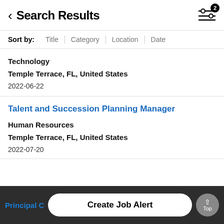Search Results
Sort by: Title | Category | Location | Date
Technology
Temple Terrace, FL, United States
2022-06-22
Talent and Succession Planning Manager
Human Resources
Temple Terrace, FL, United States
2022-07-20
Principal C
Create Job Alert